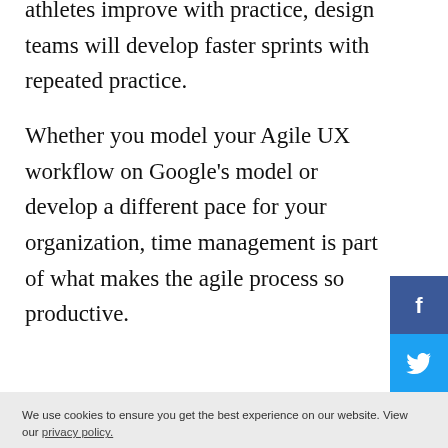athletes improve with practice, design teams will develop faster sprints with repeated practice.
Whether you model your Agile UX workflow on Google's model or develop a different pace for your organization, time management is part of what makes the agile process so productive.
We use cookies to ensure you get the best experience on our website. View our privacy policy.
Got it!
Just like a runner has a rough estimate of how long it will take them to complete a distance, and uses regular checkpoints to monitor progress, Agile sets